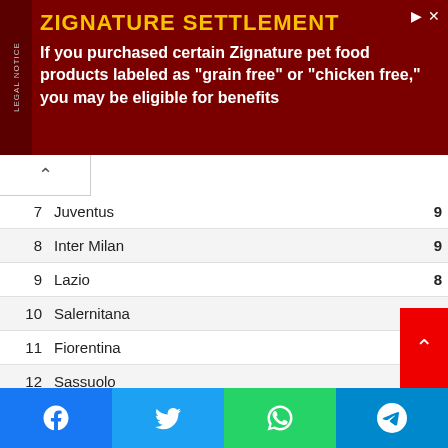[Figure (other): Advertisement banner for Zignature Settlement. Dark red background with yellow title 'ZIGNATURE SETTLEMENT' and white body text: 'If you purchased certain Zignature pet food products labeled as "grain free" or "chicken free," you may be eligible for benefits']
| # | Team | Pts |
| --- | --- | --- |
| 7 | Juventus | 9 |
| 8 | Inter Milan | 9 |
| 9 | Lazio | 8 |
| 10 | Salernitana | 6 |
| 11 | Fiorentina | 6 |
| 12 | Sassuolo | 6 |
| 13 | Verona | 5 |
| 14 | Spezia | 5 |
| 15 | Empoli | 4 |
| 16 | Bologna | 3 |
| 17 | Lecce | 2 |
| 18 | Sampdoria | 2 |
| 19 | Cremonese | 1 |
| 20 | Monza | 0 |